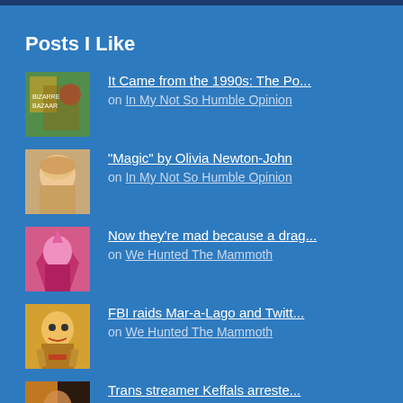Posts I Like
It Came from the 1990s: The Po... on In My Not So Humble Opinion
“Magic” by Olivia Newton-John on In My Not So Humble Opinion
Now they’re mad because a drag... on We Hunted The Mammoth
FBI raids Mar-a-Lago and Twitt... on We Hunted The Mammoth
Trans streamer Keffals arreste... on We Hunted The Mammoth
Online dating apps haven’t rui...